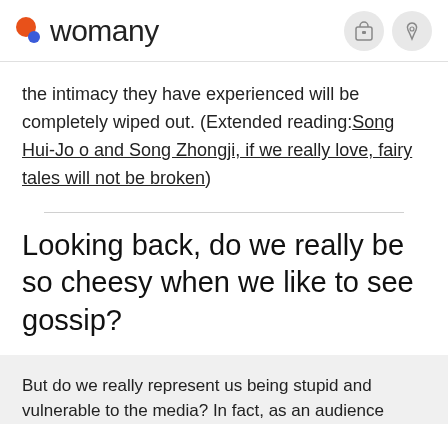womany
the intimacy they have experienced will be completely wiped out. (Extended reading:Song Hui-Jo o and Song Zhongji, if we really love, fairy tales will not be broken)
Looking back, do we really be so cheesy when we like to see gossip?
But do we really represent us being stupid and vulnerable to the media? In fact, as an audience